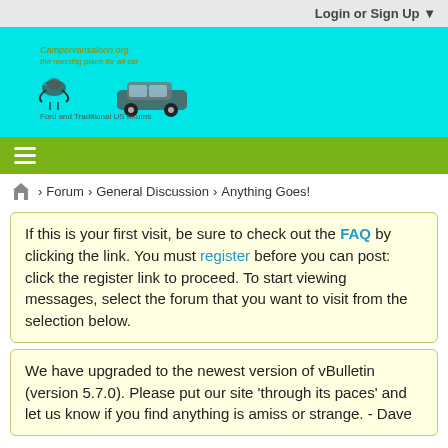Login or Sign Up ▼
[Figure (logo): Forum website logo with stylized text, bird icon, and classic car image on cyan background]
≡ (hamburger menu icon on green navigation bar)
🏠 > Forum > General Discussion > Anything Goes!
If this is your first visit, be sure to check out the FAQ by clicking the link. You must register before you can post: click the register link to proceed. To start viewing messages, select the forum that you want to visit from the selection below.
We have upgraded to the newest version of vBulletin (version 5.7.0). Please put our site 'through its paces' and let us know if you find anything is amiss or strange. - Dave